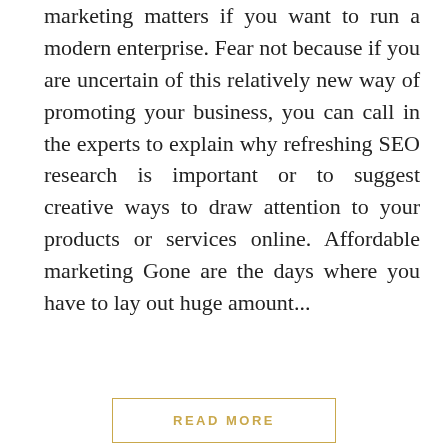marketing matters if you want to run a modern enterprise. Fear not because if you are uncertain of this relatively new way of promoting your business, you can call in the experts to explain why refreshing SEO research is important or to suggest creative ways to draw attention to your products or services online. Affordable marketing Gone are the days where you have to lay out huge amount...
READ MORE
Kate Davis-Holmes
0 Comments
GENERAL
How to deal with fleas in